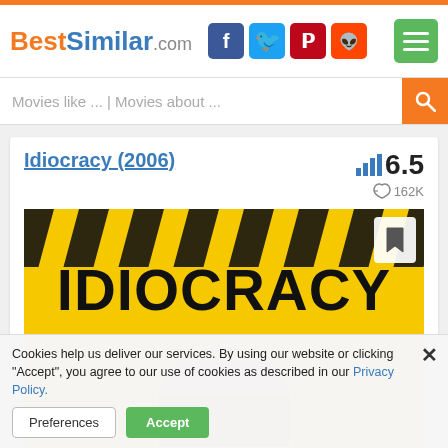BestSimilar.com
Movies like ... | Movies about ...
Idiocracy (2006)
6.5 rating, 162K likes
[Figure (photo): Movie poster for Idiocracy (2006) showing yellow and black hazard stripe background with large IDIOCRACY text and a man's face below]
Cookies help us deliver our services. By using our website or clicking "Accept", you agree to our use of cookies as described in our Privacy Policy.